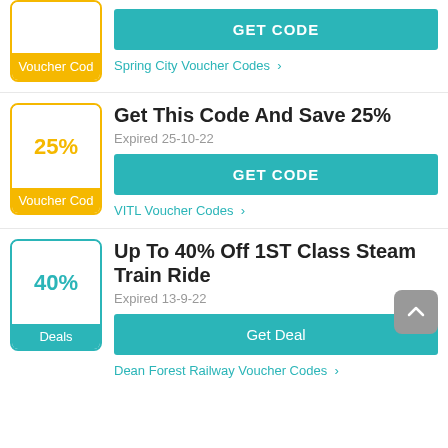[Figure (screenshot): Partial coupon card at top showing orange 'Voucher Cod' badge and teal GET CODE button with Spring City Voucher Codes link]
Get This Code And Save 25%
Expired 25-10-22
GET CODE
VITL Voucher Codes >
Up To 40% Off 1ST Class Steam Train Ride
Expired 13-9-22
Get Deal
Dean Forest Railway Voucher Codes >